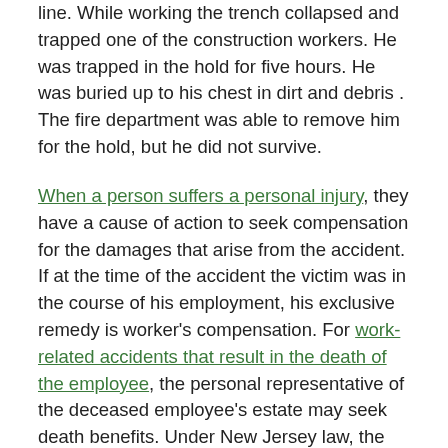line. While working the trench collapsed and trapped one of the construction workers. He was trapped in the hold for five hours. He was buried up to his chest in dirt and debris . The fire department was able to remove him for the hold, but he did not survive.
When a person suffers a personal injury, they have a cause of action to seek compensation for the damages that arise from the accident. If at the time of the accident the victim was in the course of his employment, his exclusive remedy is worker's compensation. For work-related accidents that result in the death of the employee, the personal representative of the deceased employee's estate may seek death benefits. Under New Jersey law, the death benefits are seventy percent of the deceased employee's weekly wage at the time of his death.